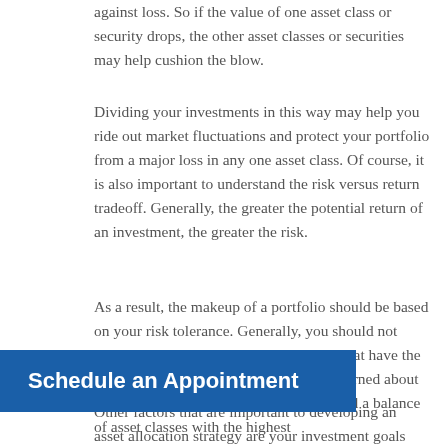against loss. So if the value of one asset class or security drops, the other asset classes or securities may help cushion the blow.
Dividing your investments in this way may help you ride out market fluctuations and protect your portfolio from a major loss in any one asset class. Of course, it is also important to understand the risk versus return tradeoff. Generally, the greater the potential return of an investment, the greater the risk.
As a result, the makeup of a portfolio should be based on your risk tolerance. Generally, you should not place all your assets in those categories that have the highest potential for gain if you are concerned about the prospect of a loss. It is essential to find a balance of asset classes with the highest
Schedule an Appointment
Other factors that are important to developing an asset allocation strategy are your investment goals